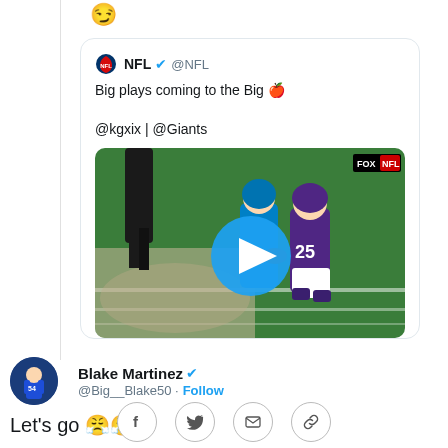[Figure (screenshot): Smirking face emoji at top left area]
[Figure (screenshot): Quoted NFL tweet card with text 'Big plays coming to the Big 🍎 @kgxix | @Giants' and a video thumbnail showing NFL football players (Chargers vs Vikings) with a blue play button circle overlay. FOX NFL watermark visible.]
Blake Martinez ✔ @Big__Blake50 · Follow
Let's go 😤😤